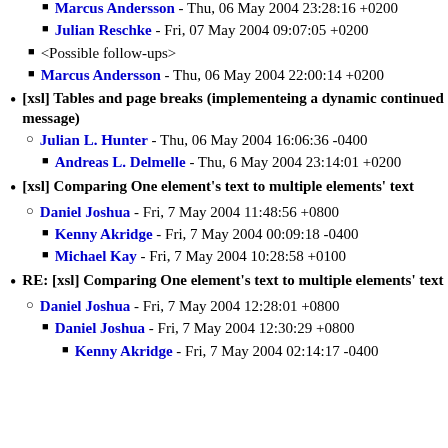Marcus Andersson - Thu, 06 May 2004 23:28:16 +0200
Julian Reschke - Fri, 07 May 2004 09:07:05 +0200
<Possible follow-ups>
Marcus Andersson - Thu, 06 May 2004 22:00:14 +0200
[xsl] Tables and page breaks (implementeing a dynamic continued message)
Julian L. Hunter - Thu, 06 May 2004 16:06:36 -0400
Andreas L. Delmelle - Thu, 6 May 2004 23:14:01 +0200
[xsl] Comparing One element's text to multiple elements' text
Daniel Joshua - Fri, 7 May 2004 11:48:56 +0800
Kenny Akridge - Fri, 7 May 2004 00:09:18 -0400
Michael Kay - Fri, 7 May 2004 10:28:58 +0100
RE: [xsl] Comparing One element's text to multiple elements' text
Daniel Joshua - Fri, 7 May 2004 12:28:01 +0800
Daniel Joshua - Fri, 7 May 2004 12:30:29 +0800
Kenny Akridge - Fri, 7 May 2004 02:14:17 -0400